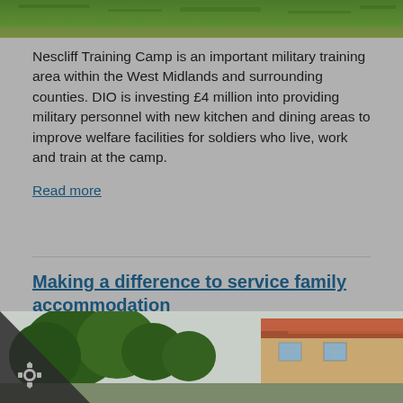[Figure (photo): Top portion of outdoor image showing green grass and ground, cropped at top of page]
Nescliff Training Camp is an important military training area within the West Midlands and surrounding counties. DIO is investing £4 million into providing military personnel with new kitchen and dining areas to improve welfare facilities for soldiers who live, work and train at the camp.
Read more
Making a difference to service family accommodation
Air Commodore Wendy Rothery, 10 September 2018 - Accommodation, Facilities Management, Future Accomodation Model
[Figure (photo): Bottom portion showing residential housing with trees and red-tiled roof buildings, with a dark triangle overlay on bottom-left containing a cogwheel icon]